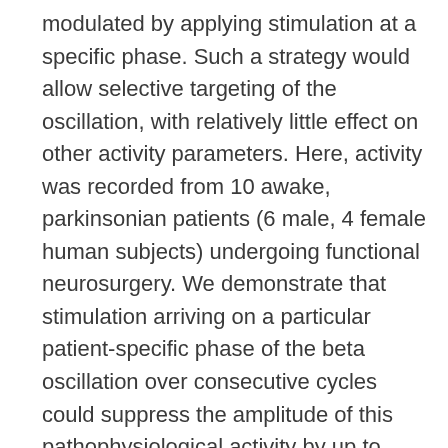modulated by applying stimulation at a specific phase. Such a strategy would allow selective targeting of the oscillation, with relatively little effect on other activity parameters. Here, activity was recorded from 10 awake, parkinsonian patients (6 male, 4 female human subjects) undergoing functional neurosurgery. We demonstrate that stimulation arriving on a particular patient-specific phase of the beta oscillation over consecutive cycles could suppress the amplitude of this pathophysiological activity by up to 40%, while amplification effects were relatively weak. Suppressive effects were accompanied by a reduction in the rhythmic output of subthalamic nucleus (STN) neurons and synchronization with the mesial cortex. While stimulation could alter the spiking pattern of STN